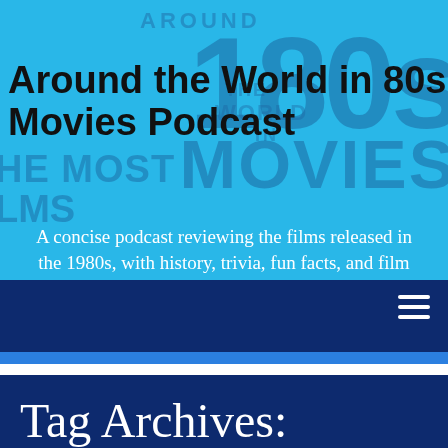[Figure (screenshot): Website header banner for 'Around the World in 80s Movies Podcast' with cyan/blue background, decorative text overlays, site title, and tagline]
A concise podcast reviewing the films released in the 1980s, with history, trivia, fun facts, and film critic Vince Leo's personal recollection with the era that defined a generation's taste in movies.
Around the World in 80s Movies Podcast
Tag Archives: developer